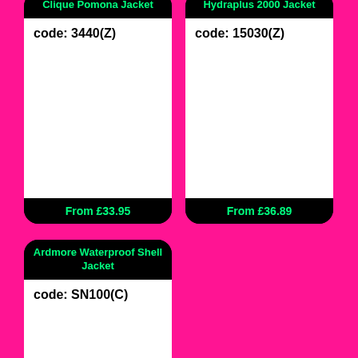Clique Pomona Jacket
code: 3440(Z)
From £33.95
Hydraplus 2000 Jacket
code: 15030(Z)
From £36.89
Ardmore Waterproof Shell Jacket
code: SN100(C)